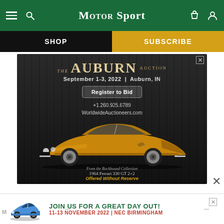MotorSport
SHOP | SUBSCRIBE
[Figure (photo): Auburn Auction advertisement featuring a 1964 Ferrari 330 GT 2+2 gold car. Text reads: THE AUBURN AUCTION, September 1-3, 2022 | Auburn, IN, Register to Bid, +1.260.925.6789, WorldwideAuctioneers.com, From the Rockhound Collection, 1964 Ferrari 330 GT 2+2, Offered Without Reserve]
[Figure (photo): Bottom banner ad: JOIN US FOR A GREAT DAY OUT! 11-13 NOVEMBER 2022 | NEC BIRMINGHAM, with a blue Porsche car image]